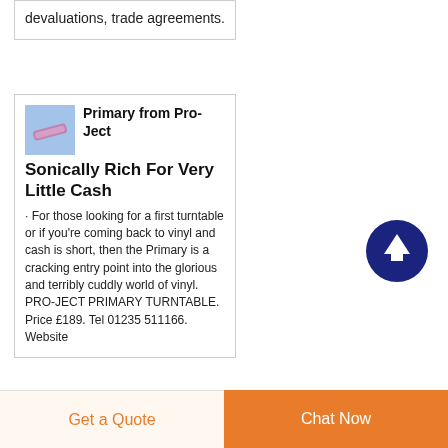devaluations, trade agreements.
Primary from Pro-Ject Sonically Rich For Very Little Cash
[Figure (photo): Small thumbnail image of Pro-Ject Primary turntable component in blue/pink]
· For those looking for a first turntable or if you're coming back to vinyl and cash is short, then the Primary is a cracking entry point into the glorious and terribly cuddly world of vinyl. PRO-JECT PRIMARY TURNTABLE. Price £189. Tel 01235 511166. Website
[Figure (infographic): Dark navy blue circular button with white upward arrow icon]
Get a Quote
Chat Now